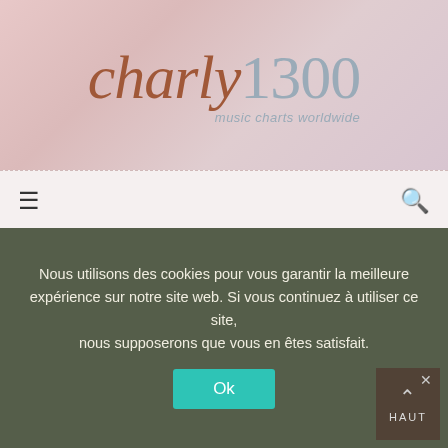charly1300 music charts worldwide
≡  🔍
Accueil / Blog / Music charts / USA / USA Airplay / USA Airplay Radios Chart 19.12.2021
Nous utilisons des cookies pour vous garantir la meilleure expérience sur notre site web. Si vous continuez à utiliser ce site, nous supposerons que vous en êtes satisfait.
Ok